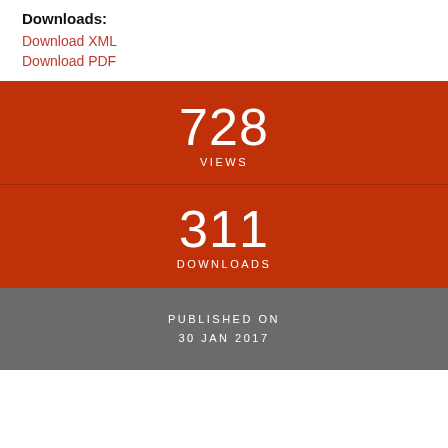Downloads:
Download XML
Download PDF
[Figure (infographic): Red box showing 728 VIEWS and 311 DOWNLOADS statistics, followed by a gray box showing PUBLISHED ON 30 JAN 2017]